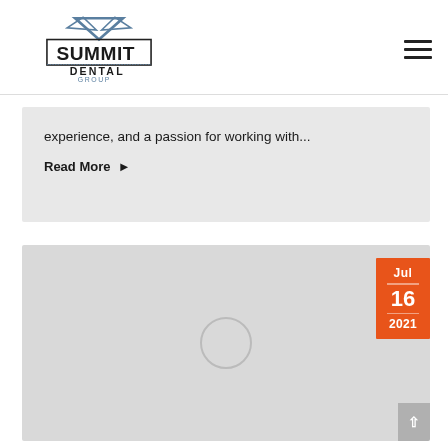Summit Dental Group
experience, and a passion for working with...
Read More
[Figure (photo): Gray placeholder image block with a circular icon in the center and an orange date badge in the top-right corner showing Jul 16 2021]